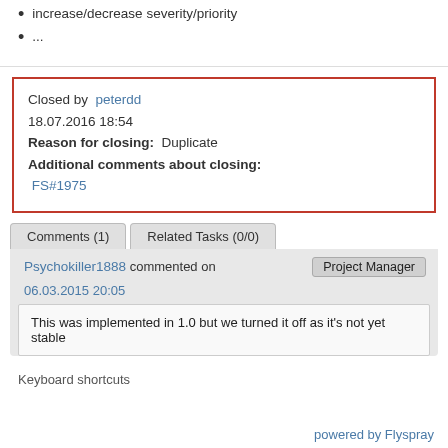increase/decrease severity/priority
...
Closed by peterdd
18.07.2016 18:54
Reason for closing: Duplicate
Additional comments about closing:
FS#1975
Comments (1)   Related Tasks (0/0)
Psychokiller1888 commented on   Project Manager
06.03.2015 20:05
This was implemented in 1.0 but we turned it off as it's not yet stable
Keyboard shortcuts
powered by Flyspray